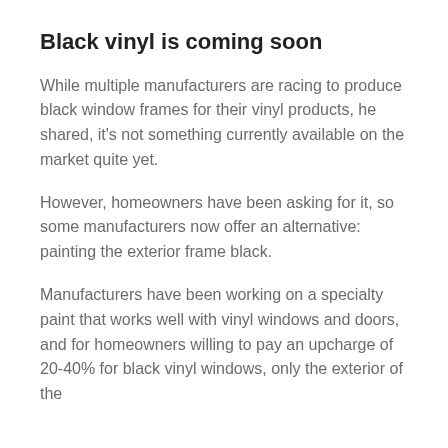Black vinyl is coming soon
While multiple manufacturers are racing to produce black window frames for their vinyl products, he shared, it’s not something currently available on the market quite yet.
However, homeowners have been asking for it, so some manufacturers now offer an alternative: painting the exterior frame black.
Manufacturers have been working on a specialty paint that works well with vinyl windows and doors, and for homeowners willing to pay an upcharge of 20-40% for black vinyl windows, only the exterior of the